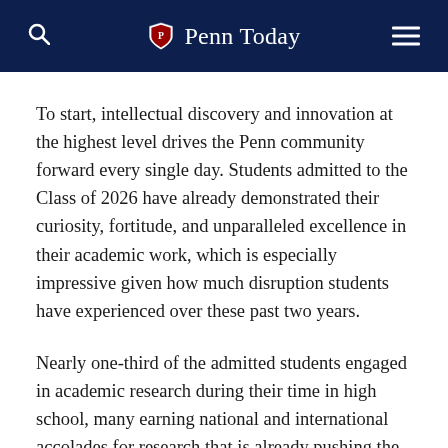Penn Today
To start, intellectual discovery and innovation at the highest level drives the Penn community forward every single day. Students admitted to the Class of 2026 have already demonstrated their curiosity, fortitude, and unparalleled excellence in their academic work, which is especially impressive given how much disruption students have experienced over these past two years.
Nearly one-third of the admitted students engaged in academic research during their time in high school, many earning national and international accolades for research that is already pushing the boundaries of academic discovery. Admitted students worked alongside leading faculty and researchers in their fields